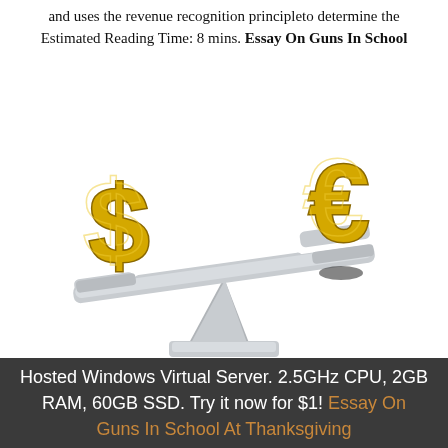and uses the revenue recognition principleto determine the Estimated Reading Time: 8 mins. Essay On Guns In School
[Figure (illustration): A 3D illustration of a balance scale (seesaw/teeter-totter) made of grey metallic material, with a large gold dollar sign ($) on the left side weighing it down, and a large gold euro sign (€) on the right side elevated. The scale is tipped to the left.]
Hosted Windows Virtual Server. 2.5GHz CPU, 2GB RAM, 60GB SSD. Try it now for $1! Essay On Guns In School At Thanksgiving Holidays...